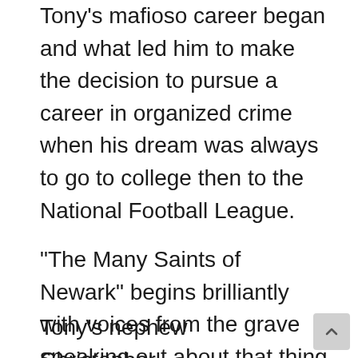Tony's mafioso career began and what led him to make the decision to pursue a career in organized crime when his dream was always to go to college then to the National Football League.
“The Many Saints of Newark” begins brilliantly with voices from the grave speaking out about that thing of theirs.
Tony’s nephew Christopher